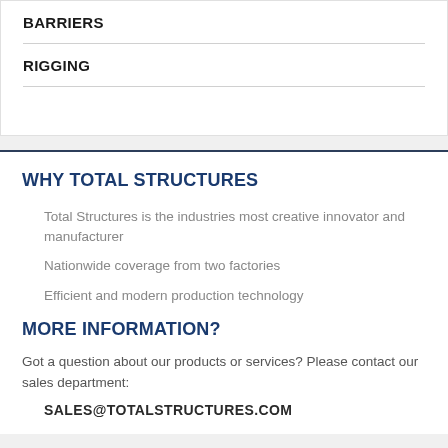BARRIERS
RIGGING
WHY TOTAL STRUCTURES
Total Structures is the industries most creative innovator and manufacturer
Nationwide coverage from two factories
Efficient and modern production technology
MORE INFORMATION?
Got a question about our products or services? Please contact our sales department:
SALES@TOTALSTRUCTURES.COM